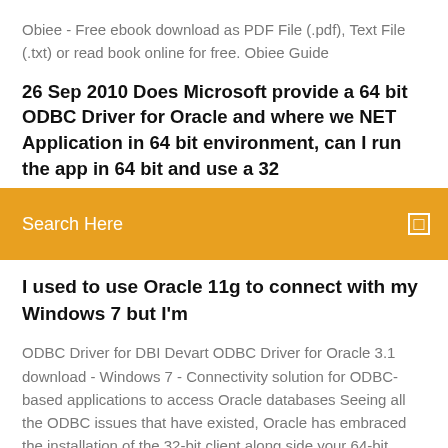Obiee - Free ebook download as PDF File (.pdf), Text File (.txt) or read book online for free. Obiee Guide
26 Sep 2010 Does Microsoft provide a 64 bit ODBC Driver for Oracle and where we NET Application in 64 bit environment, can I run the app in 64 bit and use a 32
Search Here
I used to use Oracle 11g to connect with my Windows 7 but I'm
ODBC Driver for DBI Devart ODBC Driver for Oracle 3.1 download - Windows 7 - Connectivity solution for ODBC-based applications to access Oracle databases Seeing all the ODBC issues that have existed, Oracle has embraced the installation of the 32-bit client along side your 64-bit database or client software. Progress UNIX ODBC Quickstart - Free download as PDF File (.pdf), Text File (.txt) or read online for free. Brief installation information for Progress UNIX ODBC